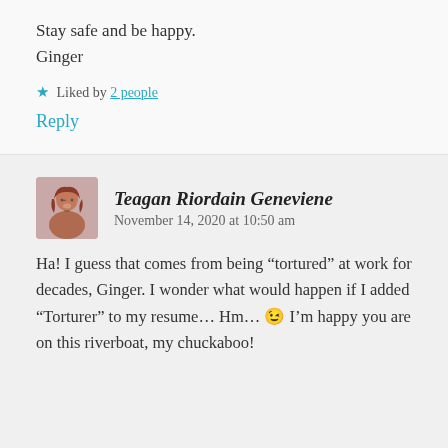Stay safe and be happy.
Ginger
★ Liked by 2 people
Reply
Teagan Riordain Geneviene
November 14, 2020 at 10:50 am
Ha! I guess that comes from being “tortured” at work for decades, Ginger. I wonder what would happen if I added “Torturer” to my resume… Hm… 😉 I’m happy you are on this riverboat, my chuckaboo!